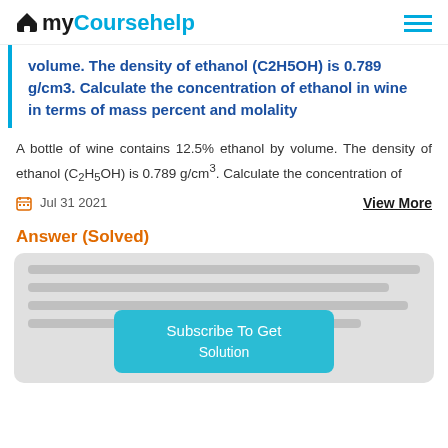myCoursehelp
volume. The density of ethanol (C2H5OH) is 0.789 g/cm3. Calculate the concentration of ethanol in wine in terms of mass percent and molality
A bottle of wine contains 12.5% ethanol by volume. The density of ethanol (C₂H₅OH) is 0.789 g/cm³. Calculate the concentration of
Jul 31 2021
View More
Answer (Solved)
[Figure (other): Blurred answer content with Subscribe To Get Solution button overlay]